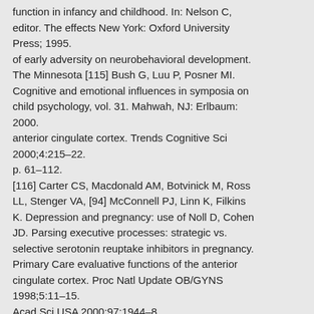function in infancy and childhood. In: Nelson C, editor. The effects New York: Oxford University Press; 1995.
of early adversity on neurobehavioral development. The Minnesota [115] Bush G, Luu P, Posner MI. Cognitive and emotional influences in symposia on child psychology, vol. 31. Mahwah, NJ: Erlbaum: 2000.
anterior cingulate cortex. Trends Cognitive Sci 2000;4:215–22.
p. 61–112.
[116] Carter CS, Macdonald AM, Botvinick M, Ross LL, Stenger VA, [94] McConnell PJ, Linn K, Filkins K. Depression and pregnancy: use of Noll D, Cohen JD. Parsing executive processes: strategic vs. selective serotonin reuptake inhibitors in pregnancy. Primary Care evaluative functions of the anterior cingulate cortex. Proc Natl Update OB/GYNS 1998;5:11–15.
Acad Sci USA 2000;97:1944–8.
B.R.H. Van den Bergh et al. / Neuroscience and Biobehavioral Reviews 29 (2005) 237–258 [117]